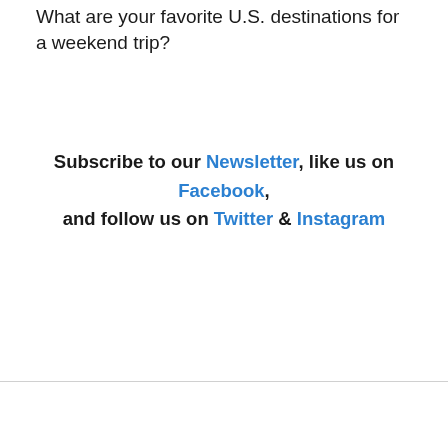What are your favorite U.S. destinations for a weekend trip?
Subscribe to our Newsletter, like us on Facebook, and follow us on Twitter & Instagram